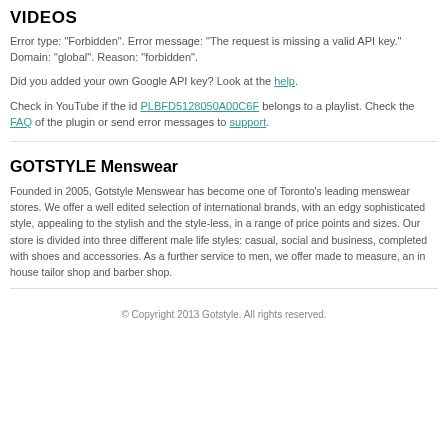VIDEOS
Error type: "Forbidden". Error message: "The request is missing a valid API key." Domain: "global". Reason: "forbidden".
Did you added your own Google API key? Look at the help.
Check in YouTube if the id PLBFD5128050A00C6F belongs to a playlist. Check the FAQ of the plugin or send error messages to support.
GOTSTYLE Menswear
Founded in 2005, Gotstyle Menswear has become one of Toronto’s leading menswear stores. We offer a well edited selection of international brands, with an edgy sophisticated style, appealing to the stylish and the style-less, in a range of price points and sizes. Our store is divided into three different male life styles: casual, social and business, completed with shoes and accessories. As a further service to men, we offer made to measure, an in house tailor shop and barber shop.
© Copyright 2013 Gotstyle. All rights reserved.